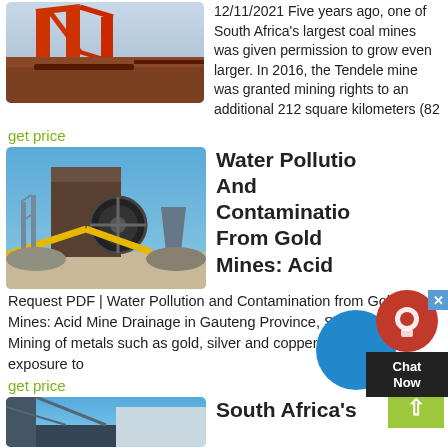[Figure (photo): Coal mine conveyor structure with red/orange metal framework]
12/11/2021 Five years ago, one of South Africa's largest coal mines was given permission to grow even larger. In 2016, the Tendele mine was granted mining rights to an additional 212 square kilometers (82
get price
[Figure (photo): Industrial rock crusher/mining equipment with blue sky background]
Water Pollution And Contamination From Gold Mines: Acid
Request PDF | Water Pollution and Contamination from Gold Mines: Acid Mine Drainage in Gauteng Province, South Africa Mining of metals such as gold, silver and copper results in the exposure to
get price
[Figure (photo): Building/mine structure with blue sky]
South Africa's